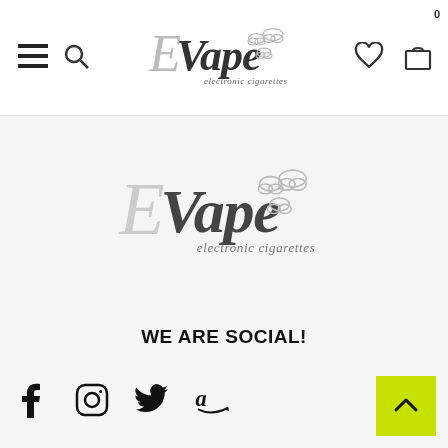EVape electronic cigarettes - header navigation
[Figure (logo): EVape electronic cigarettes logo, center of page]
WE ARE SOCIAL!
[Figure (infographic): Social media icons: Facebook, Instagram, Twitter, Amazon]